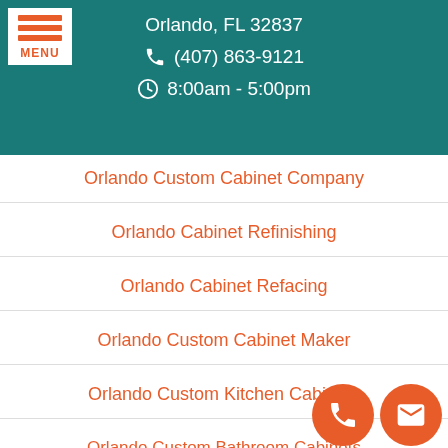Orlando, FL 32837 | (407) 863-9121 | 8:00am - 5:00pm
Orlando Custom Cabinet Company
Orlando Cabinet Refinishing
Orlando Cabinet Refacing
Orlando Custom Cabinet Maker
Orlando Custom Kitchen Cabinets
Orlando Custom Bathroom Cabinets
Privacy Policy
Terms of Service
Contact Us
[Figure (other): Phone and email floating action buttons (orange circles)]